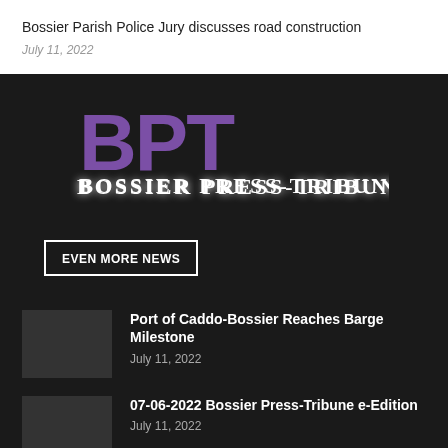Bossier Parish Police Jury discusses road construction
July 11, 2022
[Figure (logo): BPT Bossier Press-Tribune logo with large purple BPT letters and white serif text below on dark background]
EVEN MORE NEWS
Port of Caddo-Bossier Reaches Barge Milestone
July 11, 2022
07-06-2022 Bossier Press-Tribune e-Edition
July 11, 2022